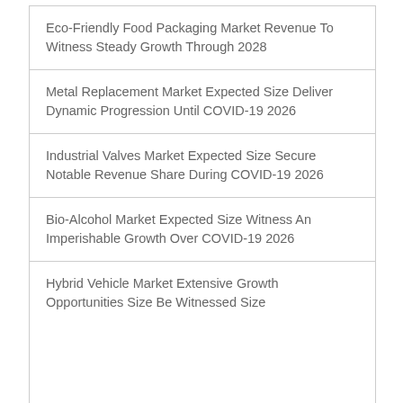Eco-Friendly Food Packaging Market Revenue To Witness Steady Growth Through 2028
Metal Replacement Market Expected Size Deliver Dynamic Progression Until COVID-19 2026
Industrial Valves Market Expected Size Secure Notable Revenue Share During COVID-19 2026
Bio-Alcohol Market Expected Size Witness An Imperishable Growth Over COVID-19 2026
Hybrid Vehicle Market Extensive Growth Opportunities Size Be Witnessed Size